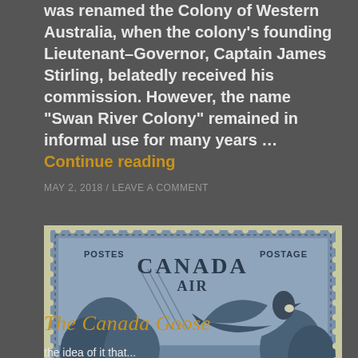was renamed the Colony of Western Australia, when the colony's founding Lieutenant-Governor, Captain James Stirling, belatedly received his commission. However, the name "Swan River Colony" remained in informal use for many years … Continue reading
MAY 2, 2018 / LEAVE A COMMENT
[Figure (photo): A vintage Canada Air Mail postage stamp showing a Canada Goose in flight over a landscape. The stamp reads POSTES, CANADA AIR, POSTAGE, 7 CENTS, with the denomination 7 shown in bottom left and right corners. The stamp is blue/steel blue in color.]
The Canada Goose
the idea of it that...